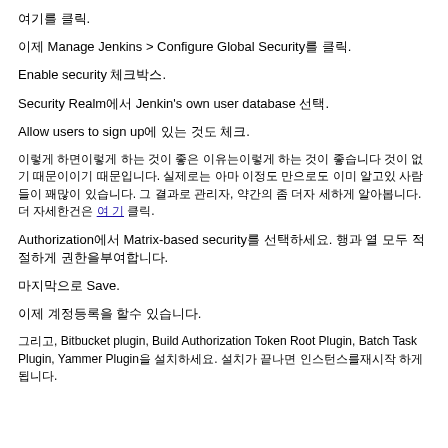여기를 클릭.
이제 Manage Jenkins > Configure Global Security를 클릭.
Enable security 체크박스.
Security Realm에서 Jenkin's own user database 선택.
Allow users to sign up에 있는 것도 체크.
이렇게 하면이렇게 하는 것이 좋은 이유는이렇게 하는 것이 좋습니다 것이 없기 때문이이기 때문입니다. 실제로는 아마 이정도 만으로도 이미 알고있 사람들이 꽤많이 있습니다. 그 결과로 관리자, 약간의 좀 더자 세하게 알아봅니다. 더 자세한건은 여 기 클릭.
Authorization에서 Matrix-based security를 선택하세요. 행과 열 모두 적절하게 권한을부여합니다.
마지막으로 Save.
이제 계정등록을 할수 있습니다.
그리고, Bitbucket plugin, Build Authorization Token Root Plugin, Batch Task Plugin, Yammer Plugin을 설치하세요. 설치가 끝나면 인스턴스를재시작 하게 됩니다.